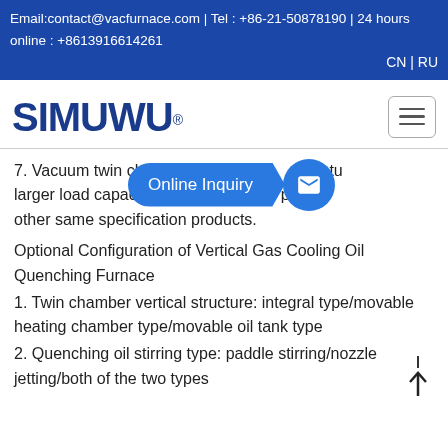Email:contact@vacfurnace.com | Tel : +86-21-50878190 | 24 hours online : +8613916614261
CN | RU
[Figure (logo): SIMUWU logo with registered trademark symbol]
7. Vacuum twin chamber oil quenching furnace features larger load capacity and higher uniformity, paring other same specification products.
Optional Configuration of Vertical Gas Cooling Oil Quenching Furnace
1. Twin chamber vertical structure: integral type/movable heating chamber type/movable oil tank type
2. Quenching oil stirring type: paddle stirring/nozzle jetting/both of the two types